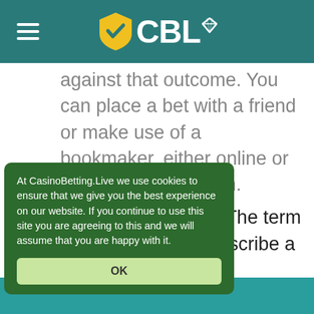CBL
against that outcome. You can place a bet with a friend or make use of a bookmaker, either online or at a physical location.
Underdog/Favorite – The term underdog is used to describe a bet that has a smaller percentage chance of winning and therefore a higher ... A favourite, on the opposite, ie. the bet ... centage chance of
At CasinoBetting.Live we use cookies to ensure that we give you the best experience on our website. If you continue to use this site you are agreeing to this and we will assume that you are happy with it.